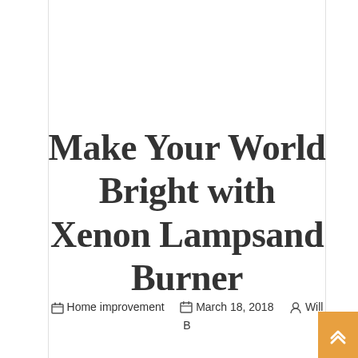Make Your World Bright with Xenon Lampsand Burner
Home improvement   March 18, 2018   Will B